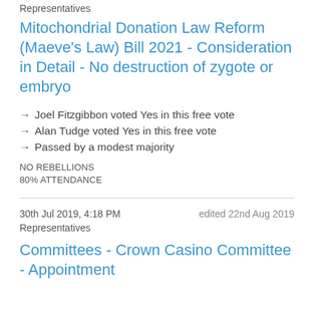Representatives
Mitochondrial Donation Law Reform (Maeve's Law) Bill 2021 - Consideration in Detail - No destruction of zygote or embryo
→ Joel Fitzgibbon voted Yes in this free vote
→ Alan Tudge voted Yes in this free vote
→ Passed by a modest majority
NO REBELLIONS
80% ATTENDANCE
30th Jul 2019, 4:18 PM    edited 22nd Aug 2019
Representatives
Committees - Crown Casino Committee - Appointment